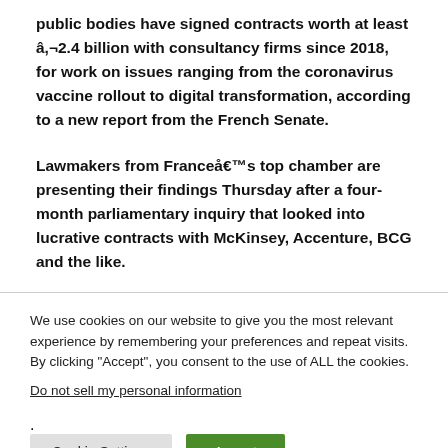public bodies have signed contracts worth at least â‚¬2.4 billion with consultancy firms since 2018, for work on issues ranging from the coronavirus vaccine rollout to digital transformation, according to a new report from the French Senate.
Lawmakers from Franceâ€™s top chamber are presenting their findings Thursday after a four-month parliamentary inquiry that looked into lucrative contracts with McKinsey, Accenture, BCG and the like.
We use cookies on our website to give you the most relevant experience by remembering your preferences and repeat visits. By clicking "Accept", you consent to the use of ALL the cookies.
Do not sell my personal information.